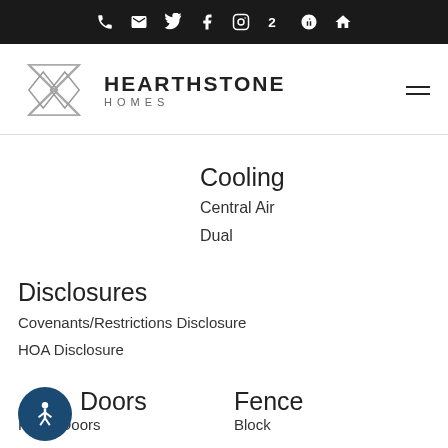Hearthstone Homes website header with navigation icons and logo
Cooling
Central Air
Dual
Disclosures
Covenants/Restrictions Disclosure
HOA Disclosure
Doors
Panel Doors
Fence
Block